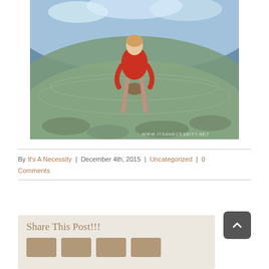[Figure (photo): A young girl in a red long-sleeve shirt standing in shallow clear ocean water holding something, taken with a fisheye lens. Watermark reads www.itsanecessity.net]
By It's A Necessity | December 4th, 2015 | Uncategorized | 0 Comments
Share This Post!!!